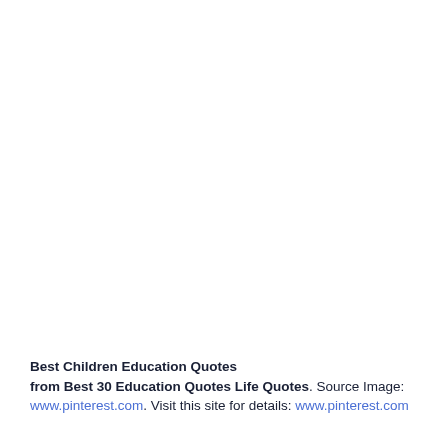Best Children Education Quotes
from Best 30 Education Quotes Life Quotes. Source Image: www.pinterest.com. Visit this site for details: www.pinterest.com